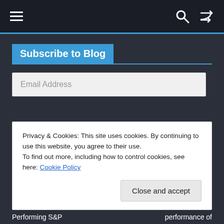≡   🔍  ⇌
Subscribe to Blog
Email Address
Subscribe
Privacy & Cookies: This site uses cookies. By continuing to use this website, you agree to their use.
To find out more, including how to control cookies, see here: Cookie Policy
Close and accept
Performing S&P    performance of